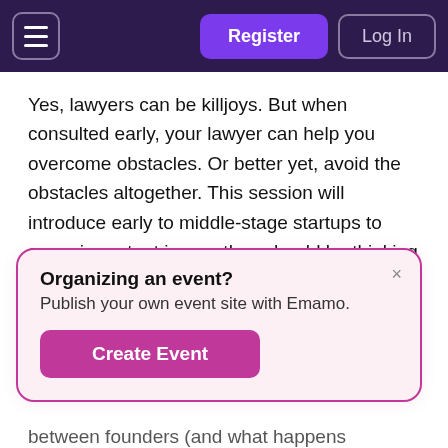Register | Log In
Yes, lawyers can be killjoys. But when consulted early, your lawyer can help you overcome obstacles. Or better yet, avoid the obstacles altogether. This session will introduce early to middle-stage startups to some important issues they should be thinking about, and why they should be thinking about them, including:
Choosing to incorporate ... or not
[Figure (other): Popup card with title 'Organizing an event?', subtitle 'Publish your own event site with Emamo.', and a 'Create Event' button. Has a close (x) button in the top right.]
between founders (and what happens